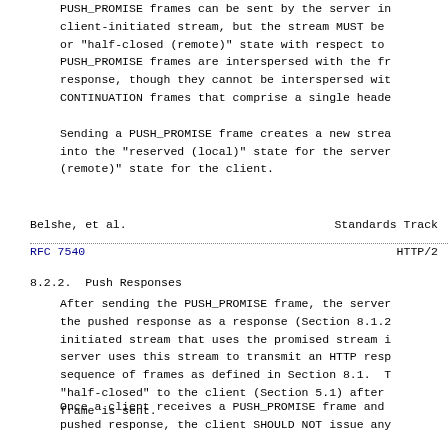PUSH_PROMISE frames can be sent by the server in client-initiated stream, but the stream MUST be or "half-closed (remote)" state with respect to PUSH_PROMISE frames are interspersed with the fr response, though they cannot be interspersed wit CONTINUATION frames that comprise a single heade

Sending a PUSH_PROMISE frame creates a new strea into the "reserved (local)" state for the server (remote)" state for the client.
Belshe, et al.                        Standards Track
RFC 7540                                              HTTP/2
8.2.2.  Push Responses
After sending the PUSH_PROMISE frame, the server the pushed response as a response (Section 8.1.2 initiated stream that uses the promised stream i server uses this stream to transmit an HTTP resp sequence of frames as defined in Section 8.1.  T "half-closed" to the client (Section 5.1) after frame is sent.
Once a client receives a PUSH_PROMISE frame and pushed response, the client SHOULD NOT issue any